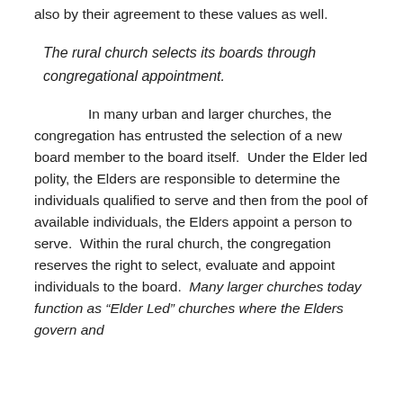also by their agreement to these values as well.
The rural church selects its boards through congregational appointment.
In many urban and larger churches, the congregation has entrusted the selection of a new board member to the board itself.  Under the Elder led polity, the Elders are responsible to determine the individuals qualified to serve and then from the pool of available individuals, the Elders appoint a person to serve.  Within the rural church, the congregation reserves the right to select, evaluate and appoint individuals to the board.  Many larger churches today function as “Elder Led” churches where the Elders govern and